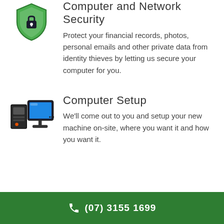[Figure (illustration): Green shield with lock icon for Computer and Network Security]
Computer and Network Security
Protect your financial records, photos, personal emails and other private data from identity thieves by letting us secure your computer for you.
[Figure (illustration): Desktop computer with monitor icon for Computer Setup]
Computer Setup
We'll come out to you and setup your new machine on-site, where you want it and how you want it.
[Figure (illustration): Partial icon at bottom of page (truncated)]
(07) 3155 1699